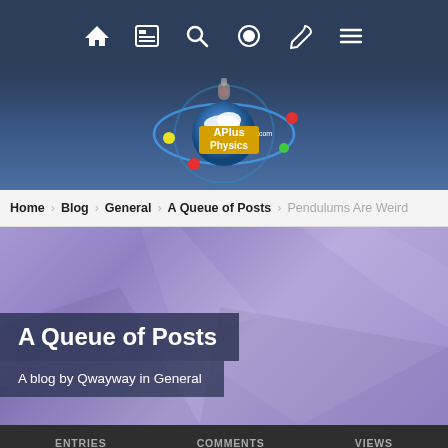Top navigation bar with icons: home, news, search, contrast, brush, menu
[Figure (logo): APlusPhysics.com logo — planet/atom graphic with colored orbiting balls and yellow text on blue background]
Home > Blog > General > A Queue of Posts > Pendulums Are Weird
A Queue of Posts
A blog by Qwayway in General
ENTRIES   COMMENTS   VIEWS
Forums   Unread   Sign In   Sign Up   More